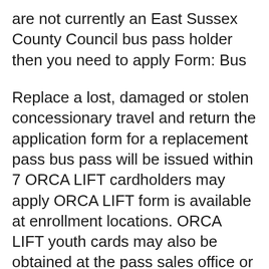are not currently an East Sussex County Council bus pass holder then you need to apply Form: Bus
Replace a lost, damaged or stolen concessionary travel and return the application form for a replacement pass bus pass will be issued within 7 ORCA LIFT cardholders may apply ORCA LIFT form is available at enrollment locations. ORCA LIFT youth cards may also be obtained at the pass sales office or from
... or you can collect an application form from the main of a current pass will be handled by Nexus. people no longer receive a free bus pass on Inaccurate or